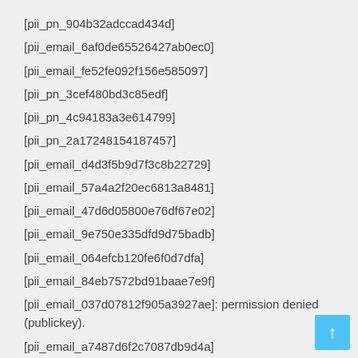[pii_pn_904b32adccad434d]
[pii_email_6af0de65526427ab0ec0]
[pii_email_fe52fe092f156e585097]
[pii_pn_3cef480bd3c85edf]
[pii_pn_4c94183a3e614799]
[pii_pn_2a17248154187457]
[pii_email_d4d3f5b9d7f3c8b22729]
[pii_email_57a4a2f20ec6813a8481]
[pii_email_47d6d05800e76df67e02]
[pii_email_9e750e335dfd9d75badb]
[pii_email_064efcb120fe6f0d7dfa]
[pii_email_84eb7572bd91baae7e9f]
[pii_email_037d07812f905a3927ae]: permission denied (publickey).
[pii_email_a7487d6f2c7087db9d4a]
[pii_email_6f96abbee28a86fc07ad]